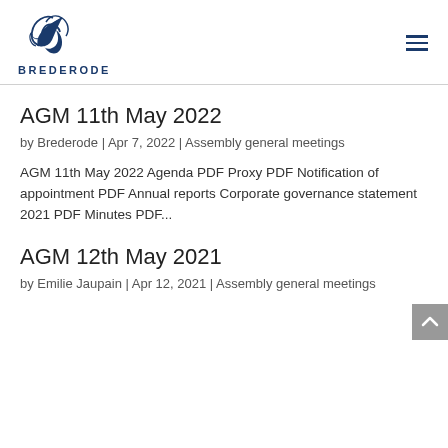[Figure (logo): Brederode logo with stylized quill and company name in dark blue]
AGM 11th May 2022
by Brederode | Apr 7, 2022 | Assembly general meetings
AGM 11th May 2022 Agenda PDF Proxy PDF Notification of appointment PDF Annual reports Corporate governance statement 2021 PDF Minutes PDF...
AGM 12th May 2021
by Emilie Jaupain | Apr 12, 2021 | Assembly general meetings